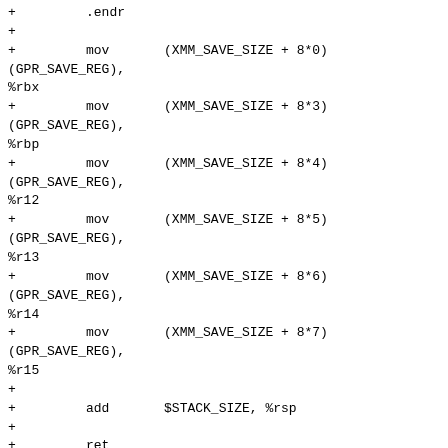+         .endr
+
+         mov       (XMM_SAVE_SIZE + 8*0)(GPR_SAVE_REG), %rbx
+         mov       (XMM_SAVE_SIZE + 8*3)(GPR_SAVE_REG), %rbp
+         mov       (XMM_SAVE_SIZE + 8*4)(GPR_SAVE_REG), %r12
+         mov       (XMM_SAVE_SIZE + 8*5)(GPR_SAVE_REG), %r13
+         mov       (XMM_SAVE_SIZE + 8*6)(GPR_SAVE_REG), %r14
+         mov       (XMM_SAVE_SIZE + 8*7)(GPR_SAVE_REG), %r15
+
+         add       $STACK_SIZE, %rsp
+
+         ret
+.endm
+
+/*
+ * AES CBC encryption routine supporting 128/192/256 bit keys
+ *
+ * void aes_cbc_enc_128_x8(struct aes_cbc_args_x8 *args, u64 len);
+ * arg 1: rcx : addr of AES_ARGS_x8 structure
+ * arg 2: rdx : len (in units of 16-byte blocks)
+ * void aes_cbc_enc_192_x8(struct aes_cbc_args_x8 *args, u64 len);